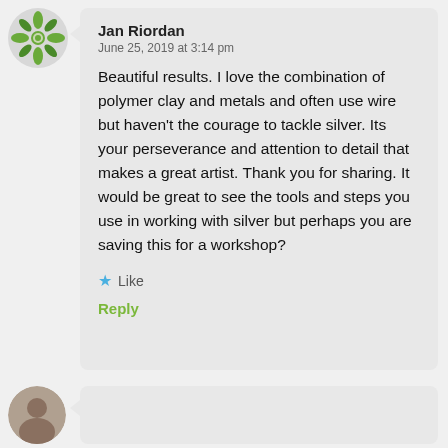[Figure (illustration): Green decorative avatar icon with flower/geometric pattern]
Jan Riordan
June 25, 2019 at 3:14 pm
Beautiful results. I love the combination of polymer clay and metals and often use wire but haven't the courage to tackle silver. Its your perseverance and attention to detail that makes a great artist. Thank you for sharing. It would be great to see the tools and steps you use in working with silver but perhaps you are saving this for a workshop?
Like
Reply
[Figure (photo): Circular avatar photo at bottom left, partially visible]